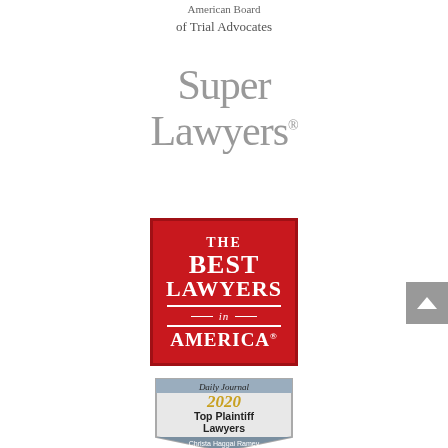[Figure (logo): American Board of Trial Advocates text logo, partially visible at top]
[Figure (logo): Super Lawyers logo in large grey serif text]
[Figure (logo): The Best Lawyers in America red badge logo]
[Figure (logo): Daily Journal 2020 Top Plaintiff Lawyers badge with Christa Haggai Ramey name]